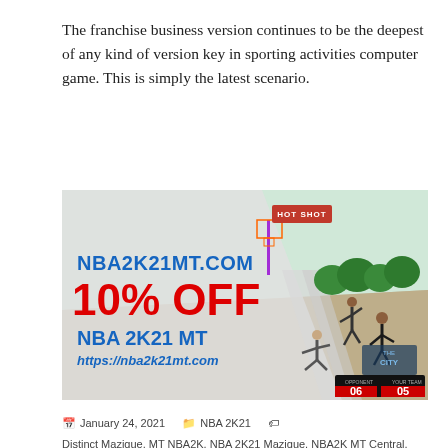The franchise business version continues to be the deepest of any kind of version key in sporting activities computer game. This is simply the latest scenario.
[Figure (screenshot): NBA 2K21 game screenshot showing an outdoor basketball court scene with an advertisement overlay displaying 'NBA2K21MT.COM', '10% OFF', 'NBA 2K21 MT', 'https://nba2k21mt.com', a scoreboard showing OPPONENT 06 vs YOUR TEAM 05, and 'HOT SHOT' banner at the top.]
January 24, 2021   NBA 2K21   Distinct Mazique, MT NBA2K, NBA 2K21 Mazique, NBA2K MT Central, NBA2K MT Coins